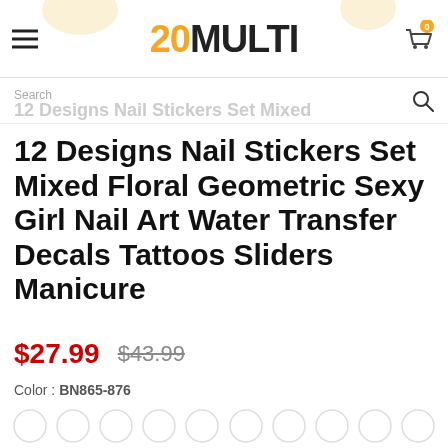20MULTI — navigation header with hamburger menu and cart
Search
12 Designs Nail Stickers Set Mixed Floral Geometric Sexy Girl Nail Art Water Transfer Decals Tattoos Sliders Manicure
$27.99  $43.99
Color : BN865-876